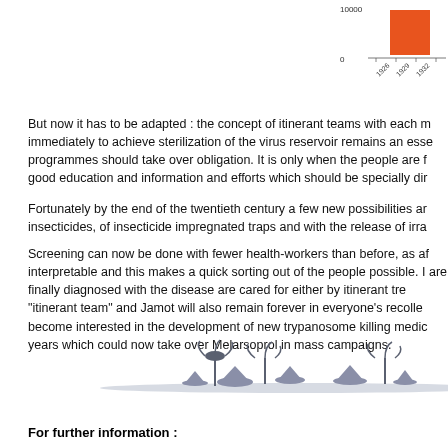[Figure (bar-chart): Partial bar chart fragment visible in top-right corner showing orange bars and y-axis with value 10000 and 0, x-axis labels 1926, 1929, 1932]
But now it has to be adapted : the concept of itinerant teams with each m immediately to achieve sterilization of the virus reservoir remains an esse programmes should take over obligation. It is only when the people are f good education and information and efforts which should be specially dir
Fortunately by the end of the twentieth century a few new possibilities ar insecticides, of insecticide impregnated traps and with the release of irra
Screening can now be done with fewer health-workers than before, as af interpretable and this makes a quick sorting out of the people possible. I are finally diagnosed with the disease are cared for either by itinerant tre "itinerant team" and Jamot will also remain forever in everyone's recolle become interested in the development of new trypanosome killing medic years which could now take over Melarsoprol in mass campaigns.
[Figure (illustration): Illustration of African village scene with palm trees, huts/thatched roofs along a horizon line in a blue-grey color scheme]
For further information :